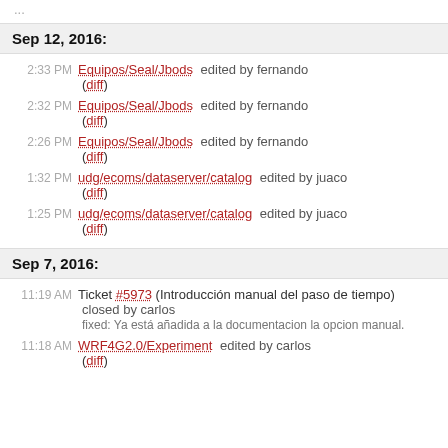...
Sep 12, 2016:
2:33 PM Equipos/Seal/Jbods edited by fernando (diff)
2:32 PM Equipos/Seal/Jbods edited by fernando (diff)
2:26 PM Equipos/Seal/Jbods edited by fernando (diff)
1:32 PM udg/ecoms/dataserver/catalog edited by juaco (diff)
1:25 PM udg/ecoms/dataserver/catalog edited by juaco (diff)
Sep 7, 2016:
11:19 AM Ticket #5973 (Introducción manual del paso de tiempo) closed by carlos
fixed: Ya está añadida a la documentacion la opcion manual.
11:18 AM WRF4G2.0/Experiment edited by carlos (diff)